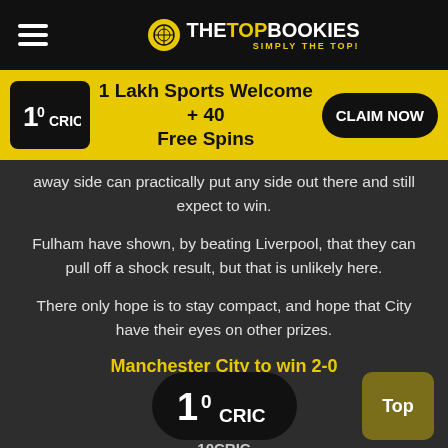THE TOP BOOKIES — SIMPLY THE TOP!
[Figure (logo): 10Cric logo with yellow banner: 1 Lakh Sports Welcome + 40 Free Spins, CLAIM NOW button]
away side can practically put any side out there and still expect to win.
Fulham have shown, by beating Liverpool, that they can pull off a shock result, but that is unlikely here.
There only hope is to stay compact, and hope that City have their eyes on other prizes.
Manchester City to win 2-0
[Figure (logo): 10Cric logo pill at bottom, with Top button]
10CRIC